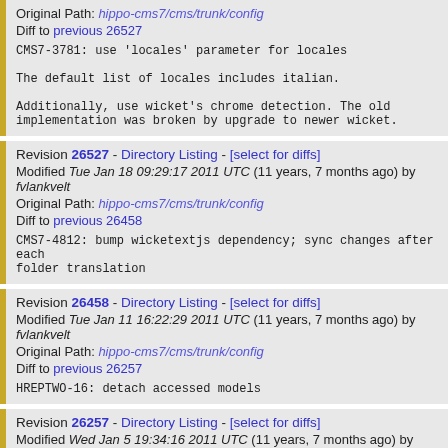Original Path: hippo-cms7/cms/trunk/config
Diff to previous 26527

CMS7-3781: use 'locales' parameter for locales

The default list of locales includes italian.

Additionally, use wicket's chrome detection. The old implementation was broken by upgrade to newer wicket.
Revision 26527 - Directory Listing - [select for diffs]
Modified Tue Jan 18 09:29:17 2011 UTC (11 years, 7 months ago) by fvlankvelt
Original Path: hippo-cms7/cms/trunk/config
Diff to previous 26458

CMS7-4812: bump wicketextjs dependency; sync changes after each folder translation
Revision 26458 - Directory Listing - [select for diffs]
Modified Tue Jan 11 16:22:29 2011 UTC (11 years, 7 months ago) by fvlankvelt
Original Path: hippo-cms7/cms/trunk/config
Diff to previous 26257

HREPTWO-16: detach accessed models
Revision 26257 - Directory Listing - [select for diffs]
Modified Wed Jan 5 19:34:16 2011 UTC (11 years, 7 months ago) by